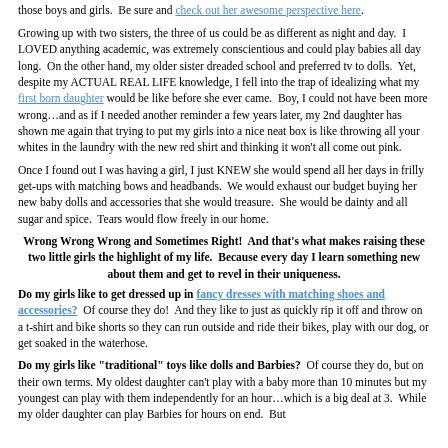those boys and girls.  Be sure and check out her awesome perspective here.
Growing up with two sisters, the three of us could be as different as night and day.  I LOVED anything academic, was extremely conscientious and could play babies all day long.  On the other hand, my older sister dreaded school and preferred tv to dolls.  Yet, despite my ACTUAL REAL LIFE knowledge, I fell into the trap of idealizing what my first born daughter would be like before she ever came.  Boy, I could not have been more wrong…and as if I needed another reminder a few years later, my 2nd daughter has shown me again that trying to put my girls into a nice neat box is like throwing all your whites in the laundry with the new red shirt and thinking it won't all come out pink.
Once I found out I was having a girl, I just KNEW she would spend all her days in frilly get-ups with matching bows and headbands.  We would exhaust our budget buying her new baby dolls and accessories that she would treasure.  She would be dainty and all sugar and spice.  Tears would flow freely in our home.
Wrong Wrong Wrong and Sometimes Right!  And that's what makes raising these two little girls the highlight of my life.  Because every day I learn something new about them and get to revel in their uniqueness.
Do my girls like to get dressed up in fancy dresses with matching shoes and accessories?  Of course they do!  And they like to just as quickly rip it off and throw on a t-shirt and bike shorts so they can run outside and ride their bikes, play with our dog, or get soaked in the waterhose.
Do my girls like "traditional" toys like dolls and Barbies?  Of course they do, but on their own terms. My oldest daughter can't play with a baby more than 10 minutes but my youngest can play with them independently for an hour…which is a big deal at 3.  While my older daughter can play Barbies for hours on end.  But